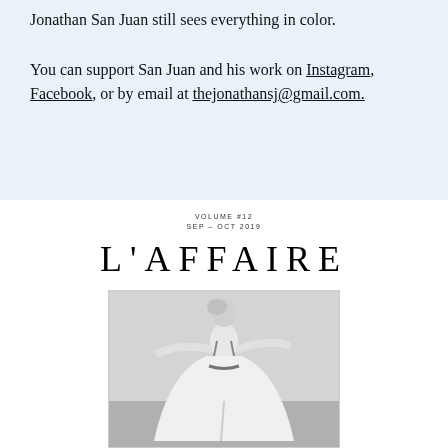…even. When the world seems black, Jonathan San Juan still sees everything in color.

You can support San Juan and his work on Instagram, Facebook, or by email at thejonathansj@gmail.com.
VOLUME #12
SEP - OCT 2019
L'AFFAIRE
[Figure (photo): Black and white fashion photo of a woman in a flowing white dress with a halter back, arms outstretched, photographed from behind against a light background.]